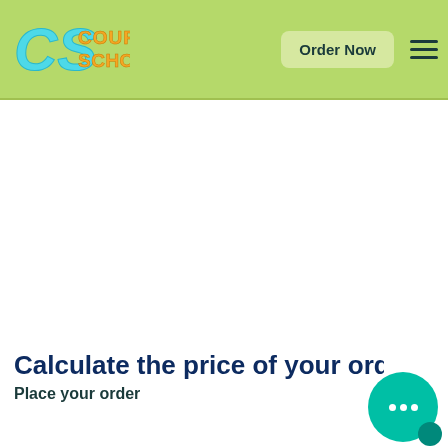[Figure (logo): Course Scholars website header with CS logo in cyan/blue, 'COURSE SCHOLAS' text in orange, an 'Order Now' button, and a hamburger menu icon, all on a yellow-green background bar.]
Calculate the price of your ord
Place your order